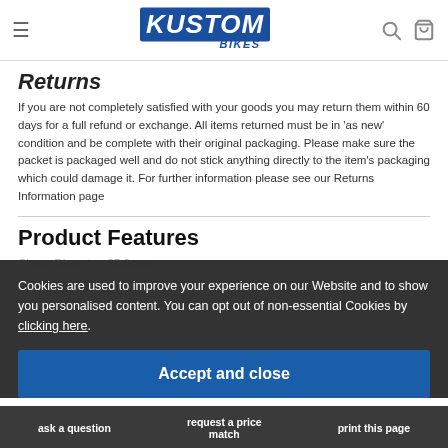KUSTOM BIKES
Returns
If you are not completely satisfied with your goods you may return them within 60 days for a full refund or exchange. All items returned must be in 'as new' condition and be complete with their original packaging. Please make sure the packet is packaged well and do not stick anything directly to the item's packaging which could damage it. For further information please see our Returns Information page
Product Features
Clamp Diameter: 35.0mm
Cookies are used to improve your experience on our Website and to show you personalised content. You can opt out of non-essential Cookies by clicking here.
Accept and close
ask a question | request a price match | print this page